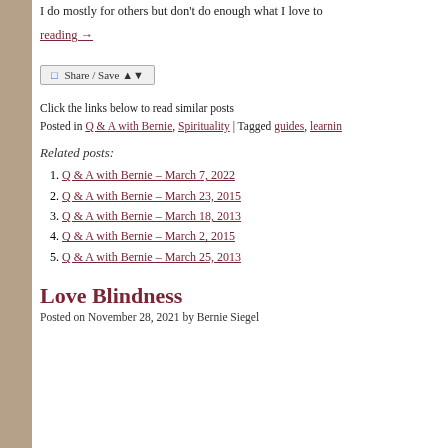I do mostly for others but don't do enough what I love to
reading →
[Figure (other): Share / Save button widget]
Click the links below to read similar posts
Posted in Q & A with Bernie, Spirituality | Tagged guides, learning
Related posts:
Q & A with Bernie – March 7, 2022
Q & A with Bernie – March 23, 2015
Q & A with Bernie – March 18, 2013
Q & A with Bernie – March 2, 2015
Q & A with Bernie – March 25, 2013
Love Blindness
Posted on November 28, 2021 by Bernie Siegel